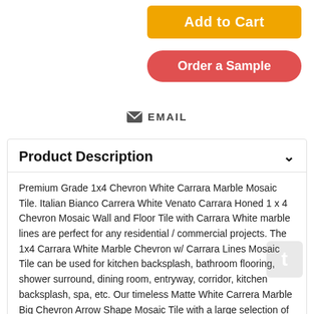Add to Cart
Order a Sample
EMAIL
Product Description
Premium Grade 1x4 Chevron White Carrara Marble Mosaic Tile. Italian Bianco Carrera White Venato Carrara Honed 1 x 4 Chevron Mosaic Wall and Floor Tile with Carrara White marble lines are perfect for any residential / commercial projects. The 1x4 Carrara White Marble Chevron w/ Carrara Lines Mosaic Tile can be used for kitchen backsplash, bathroom flooring, shower surround, dining room, entryway, corridor, kitchen backsplash, spa, etc. Our timeless Matte White Carrera Marble Big Chevron Arrow Shape Mosaic Tile with a large selection of coordinating products is available and includes hexagon, brick, basketweave mosaics, 12x12,18x18,24x24, subway tile, moldings, borders, and more.
Color:  Carrara White Marble (white gray field